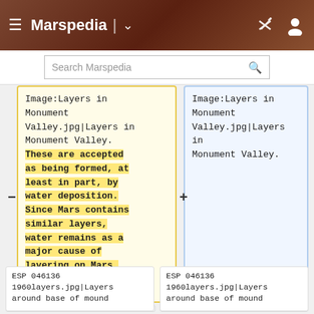Marspedia
Search Marspedia
Image:Layers in Monument Valley.jpg|Layers in Monument Valley. These are accepted as being formed, at least in part, by water deposition. Since Mars contains similar layers, water remains as a major cause of layering on Mars.
Image:Layers in Monument Valley.jpg|Layers in Monument Valley.
ESP 046136
1960layers.jpg|Layers around base of mound
ESP 046136
1960layers.jpg|Layers around base of mound